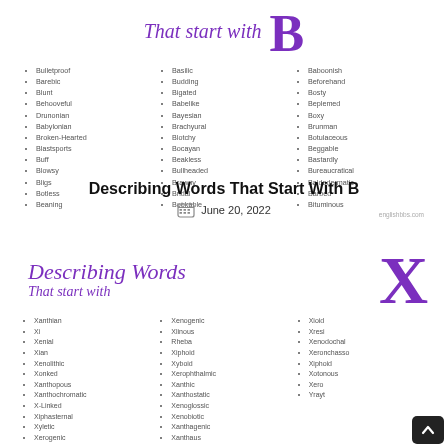[Figure (illustration): Header image for 'Describing Words That start with B' with large purple italic text and a large purple letter B, with three columns of adjectives starting with B listed below it. Credit: englishbbs.com]
Describing Words That Start With B
June 20, 2022
[Figure (illustration): Header image for 'Describing Words That start with X' with large purple italic text and a large purple letter X, with three columns of adjectives starting with X listed below it.]